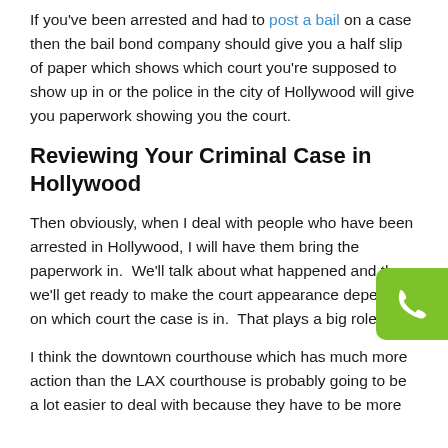If you've been arrested and had to post a bail on a case then the bail bond company should give you a half slip of paper which shows which court you're supposed to show up in or the police in the city of Hollywood will give you paperwork showing you the court.
Reviewing Your Criminal Case in Hollywood
Then obviously, when I deal with people who have been arrested in Hollywood, I will have them bring the paperwork in.  We'll talk about what happened and then we'll get ready to make the court appearance depending on which court the case is in.  That plays a big role.
I think the downtown courthouse which has much more action than the LAX courthouse is probably going to be a lot easier to deal with because they have to be more